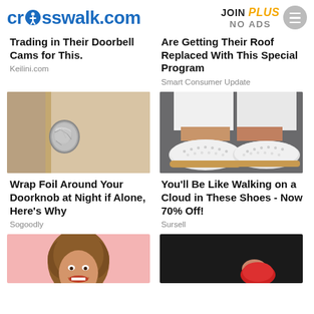crosswalk.com | JOIN PLUS NO ADS
Trading in Their Doorbell Cams for This.
Keilini.com
Are Getting Their Roof Replaced With This Special Program
Smart Consumer Update
[Figure (photo): Door knob wrapped in aluminum foil]
Wrap Foil Around Your Doorknob at Night if Alone, Here's Why
Sogoodly
[Figure (photo): Person wearing white sneakers with tan soles]
You'll Be Like Walking on a Cloud in These Shoes - Now 70% Off!
Sursell
[Figure (photo): Young woman with curly hair smiling on pink background]
[Figure (photo): Person in black outfit holding red item]